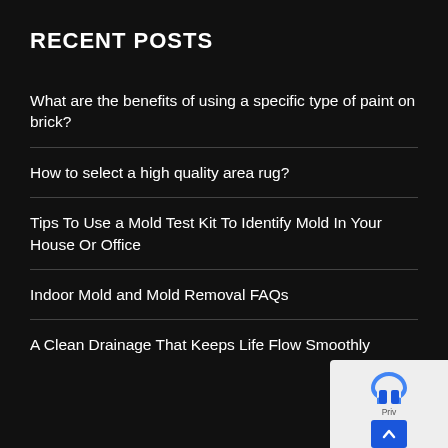RECENT POSTS
What are the benefits of using a specific type of paint on brick?
How to select a high quality area rug?
Tips To Use a Mold Test Kit To Identify Mold In Your House Or Office
Indoor Mold and Mold Removal FAQs
A Clean Drainage That Keeps Life Flow Smoothly
[Figure (other): Privacy badge with reCAPTCHA icon and scroll-to-top blue button in bottom right corner]